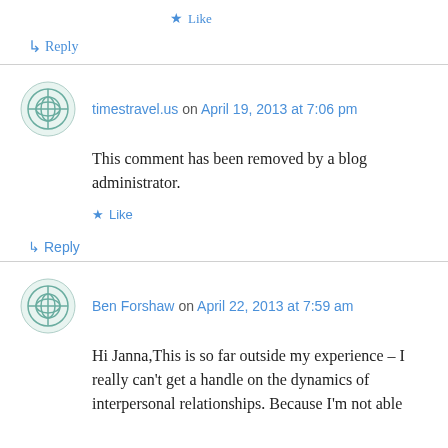★ Like
↳ Reply
timestravel.us on April 19, 2013 at 7:06 pm
This comment has been removed by a blog administrator.
★ Like
↳ Reply
Ben Forshaw on April 22, 2013 at 7:59 am
Hi Janna,This is so far outside my experience – I really can't get a handle on the dynamics of interpersonal relationships. Because I'm not able